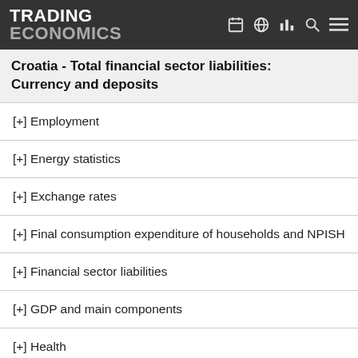TRADING ECONOMICS
Croatia - Total financial sector liabilities: Currency and deposits
[+] Employment
[+] Energy statistics
[+] Exchange rates
[+] Final consumption expenditure of households and NPISH
[+] Financial sector liabilities
[+] GDP and main components
[+] Health
[+] Housing statistics